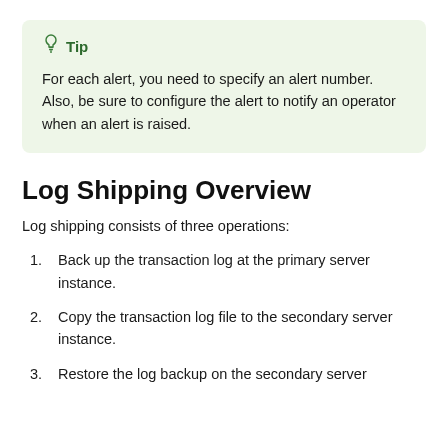Tip — For each alert, you need to specify an alert number. Also, be sure to configure the alert to notify an operator when an alert is raised.
Log Shipping Overview
Log shipping consists of three operations:
1. Back up the transaction log at the primary server instance.
2. Copy the transaction log file to the secondary server instance.
3. Restore the log backup on the secondary server